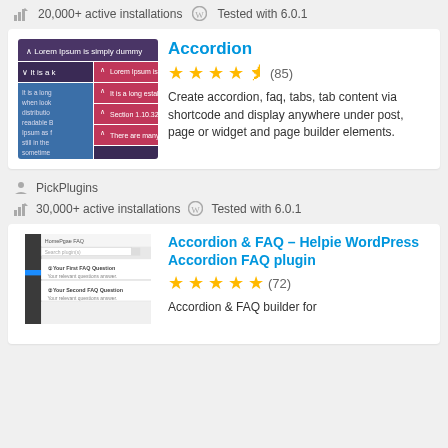20,000+ active installations  Tested with 6.0.1
[Figure (screenshot): Accordion plugin UI screenshot showing nested accordion panels with Lorem Ipsum text, dark purple and pink color scheme]
Accordion
★★★★½ (85)
Create accordion, faq, tabs, tab content via shortcode and display anywhere under post, page or widget and page builder elements.
PickPlugins
30,000+ active installations  Tested with 6.0.1
[Figure (screenshot): Accordion & FAQ Helpie WordPress plugin UI screenshot showing FAQ interface with questions and answers]
Accordion & FAQ – Helpie WordPress Accordion FAQ plugin
★★★★★ (72)
Accordion & FAQ builder for